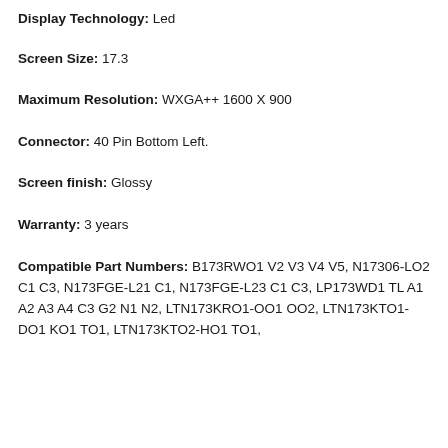Display Technology: Led
Screen Size: 17.3
Maximum Resolution: WXGA++ 1600 X 900
Connector: 40 Pin Bottom Left.
Screen finish: Glossy
Warranty: 3 years
Compatible Part Numbers: B173RWO1 V2 V3 V4 V5, N17306-LO2 C1 C3, N173FGE-L21 C1, N173FGE-L23 C1 C3, LP173WD1 TL A1 A2 A3 A4 C3 G2 N1 N2, LTN173KRO1-OO1 OO2, LTN173KTO1-DO1 KO1 TO1, LTN173KTO2-HO1 TO1,